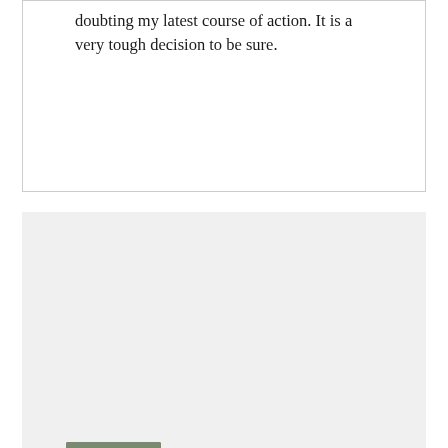doubting my latest course of action. It is a very tough decision to be sure.
Kevin@OutOfYourRut says 33
I like the way you've set this up with the different points on both sides of the question.

It's crystalized a thought in my mind, that paying off the mortgage is a worthy goal on the list of financial things to do. But as you've listed building